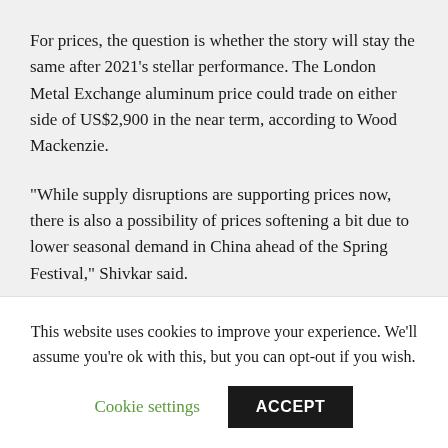For prices, the question is whether the story will stay the same after 2021’s stellar performance. The London Metal Exchange aluminum price could trade on either side of US$2,900 in the near term, according to Wood Mackenzie.
“While supply disruptions are supporting prices now, there is also a possibility of prices softening a bit due to lower seasonal demand in China ahead of the Spring Festival,” Shivkar said.
Similarly, due to the very strong fundamentals in the market, Fitch Ratings has revised its 2022 price forecast from US$2,000 to US$2,500.
Commenting on factors investors should pay attention to in
This website uses cookies to improve your experience. We’ll assume you’re ok with this, but you can opt-out if you wish.